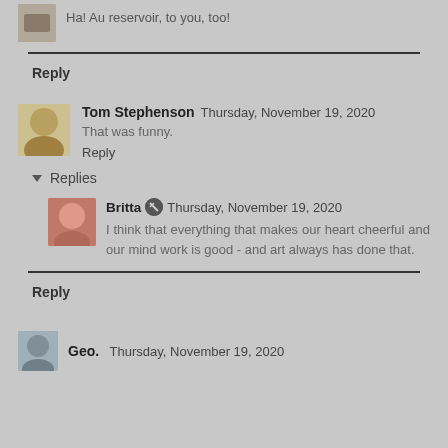Ha! Au reservoir, to you, too!
Reply
Tom Stephenson  Thursday, November 19, 2020
That was funny.
Reply
Replies
Britta  Thursday, November 19, 2020
I think that everything that makes our heart cheerful and our mind work is good - and art always has done that.
Reply
Geo.  Thursday, November 19, 2020